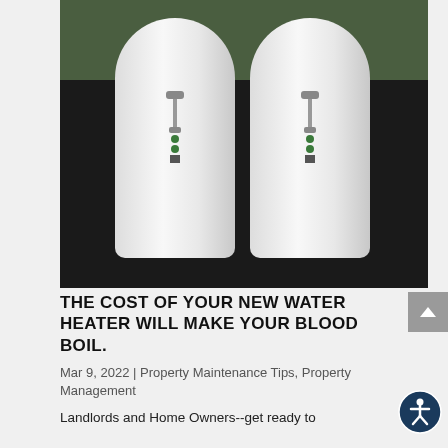[Figure (photo): Two white cylindrical water heater tanks side by side on a dark surface with a green background behind them. Each tank has a valve/pressure relief fitting on the lower section.]
THE COST OF YOUR NEW WATER HEATER WILL MAKE YOUR BLOOD BOIL.
Mar 9, 2022 | Property Maintenance Tips, Property Management
Landlords and Home Owners--get ready to